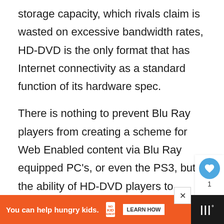storage capacity, which rivals claim is wasted on excessive bandwidth rates, HD-DVD is the only format that has Internet connectivity as a standard function of its hardware spec.
There is nothing to prevent Blu Ray players from creating a scheme for Web Enabled content via Blu Ray equipped PC's, or even the PS3, but the ability of HD-DVD players to connect is certainly being eyed as a desirable advantage over Blu Ray in a internet connected world.
[Figure (other): Social media sidebar with heart/like button (blue circle, count of 1) and share button]
[Figure (other): Advertisement banner: orange background with text 'You can help hungry kids.' and No Kid Hungry logo and LEARN HOW button. Close X button. Brand logo on right (dark background with dots and degree symbol).]